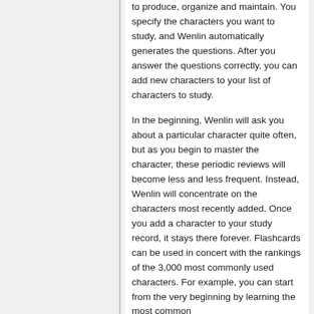to produce, organize and maintain. You specify the characters you want to study, and Wenlin automatically generates the questions. After you answer the questions correctly, you can add new characters to your list of characters to study.
In the beginning, Wenlin will ask you about a particular character quite often, but as you begin to master the character, these periodic reviews will become less and less frequent. Instead, Wenlin will concentrate on the characters most recently added. Once you add a character to your study record, it stays there forever. Flashcards can be used in concert with the rankings of the 3,000 most commonly used characters. For example, you can start from the very beginning by learning the most common